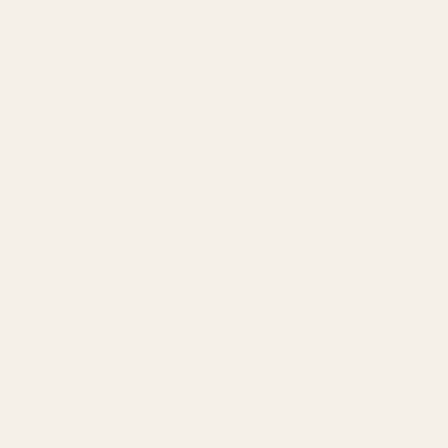en. It rises between the Berbice and the Corentine, and after